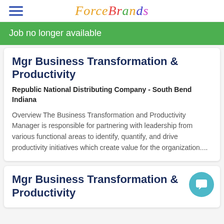ForceBrands
Job no longer available
Mgr Business Transformation & Productivity
Republic National Distributing Company - South Bend Indiana
Overview The Business Transformation and Productivity Manager is responsible for partnering with leadership from various functional areas to identify, quantify, and drive productivity initiatives which create value for the organization....
Mgr Business Transformation & Productivity